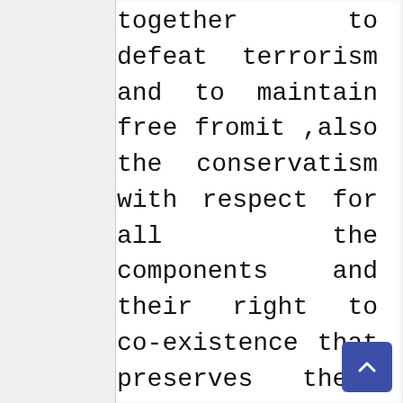together to defeat terrorism and to maintain free fromit ,also the conservatism with respect for all the components and their right to co-existence that preserves their dignity, the officer also noted the role of the Syrian Arab Army , the Sootoro forces, and units of the Kurdish protection in repelling terrorists and defeat them. To be after the entry of media outlets to take statements from everyone and to be determined on Sunday 17/01/2016 (today) the start date of work across the competent committees to reach solutions raised in the coming...